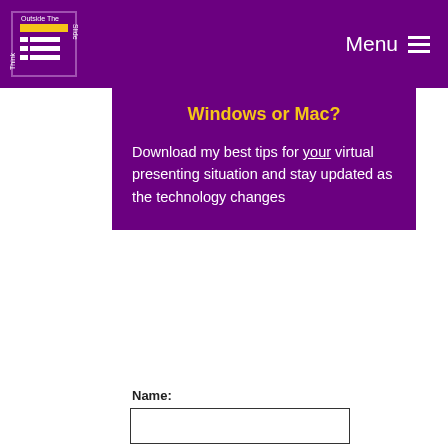Think Outside The Slide | Menu
Windows or Mac?
Download my best tips for your virtual presenting situation and stay updated as the technology changes
Name:
[Figure (other): Name input text field (empty)]
Email:
[Figure (other): Email input text field (empty)]